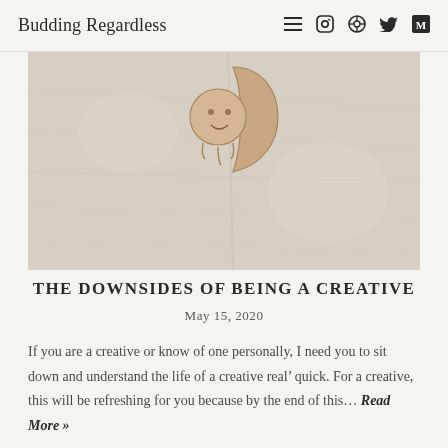Budding Regardless
[Figure (photo): Close-up photo of a crescent moon and sun face decorative pin/enamel badge on wrinkled linen or cotton fabric in cream/beige tones]
THE DOWNSIDES OF BEING A CREATIVE
May 15, 2020
If you are a creative or know of one personally, I need you to sit down and understand the life of a creative real’ quick. For a creative, this will be refreshing for you because by the end of this… Read More »